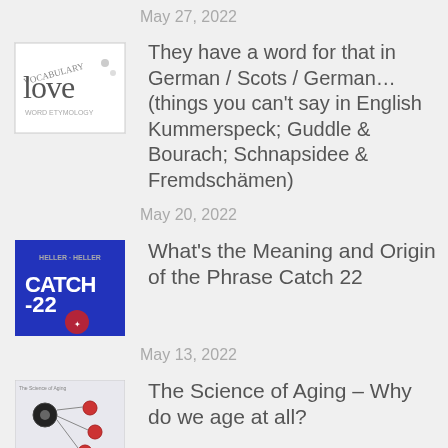May 27, 2022
[Figure (illustration): Thumbnail image with handwritten/typographic word 'love']
They have a word for that in German / Scots / German… (things you can't say in English Kummerspeck; Guddle & Bourach; Schnapsidee & Fremdschämen)
May 20, 2022
[Figure (illustration): Thumbnail image of Catch-22 book cover, blue background with red text]
What's the Meaning and Origin of the Phrase Catch 22
May 13, 2022
[Figure (illustration): Thumbnail image related to science of aging, shows biological diagram]
The Science of Aging – Why do we age at all?